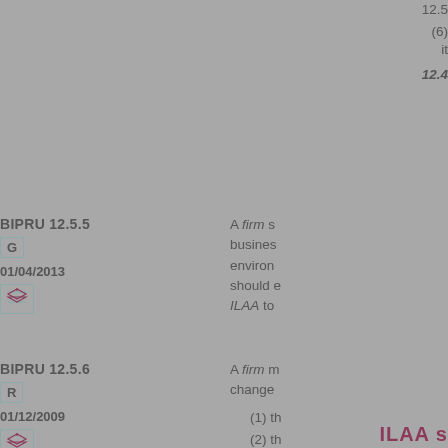12.5
(6) it
12.4
BIPRU 12.5.5
G
01/04/2013
A firm s business environ should ILAA to
BIPRU 12.5.6
R
01/12/2009
A firm m change
(1) th
(2) th
(3) th
ILAA s